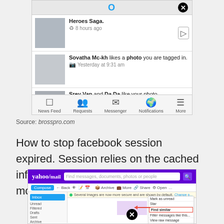[Figure (screenshot): Facebook mobile notifications screen showing Heroes Saga notification, Sovatha Mc-kh likes a photo notification, and Srey Van and Da Da like your photo notification, with navigation bar at bottom]
Source: brosspro.com
How to stop facebook session expired. Session relies on the cached information on your computer or mobile phone.
[Figure (screenshot): Yahoo Mail interface screenshot showing compose button, inbox, sidebar folders, email notification bar, email preview, and a popup menu with Find similar option highlighted in red border, with a red arrow pointing to it and a black X close button overlay]